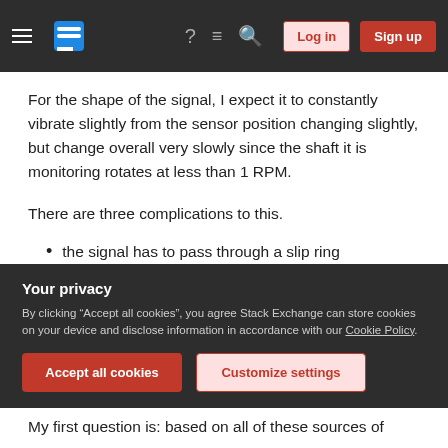Stack Exchange navigation bar with hamburger menu, logo, help, chat, search icons, Log in and Sign up buttons
For the shape of the signal, I expect it to constantly vibrate slightly from the sensor position changing slightly, but change overall very slowly since the shaft it is monitoring rotates at less than 1 RPM.
There are three complications to this.
the signal has to pass through a slip ring
the signal has to travel from a height of 75 feet to the ground - I have heard that long wires act
Your privacy
By clicking "Accept all cookies", you agree Stack Exchange can store cookies on your device and disclose information in accordance with our Cookie Policy.
My first question is: based on all of these sources of